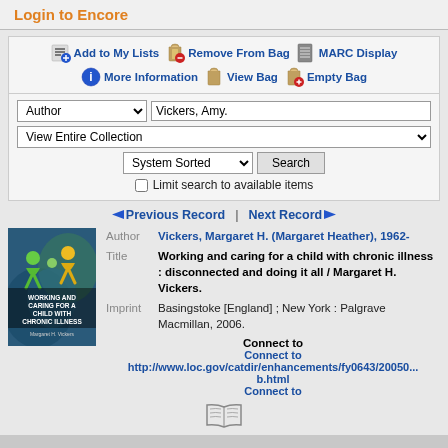Login to Encore
Add to My Lists | Remove From Bag | MARC Display | More Information | View Bag | Empty Bag
Author: Vickers, Amy. | View Entire Collection | System Sorted | Search | Limit search to available items
Previous Record | Next Record
[Figure (illustration): Book cover for 'Working and Caring for a Child with Chronic Illness' by Margaret H. Vickers, featuring illustrated human figures in green and yellow on a blue-green background.]
Author: Vickers, Margaret H. (Margaret Heather), 1962-
Title: Working and caring for a child with chronic illness : disconnected and doing it all / Margaret H. Vickers.
Imprint: Basingstoke [England] ; New York : Palgrave Macmillan, 2006.
Connect to
Connect to
http://www.loc.gov/catdir/enhancements/fy0643/20050...b.html
Connect to